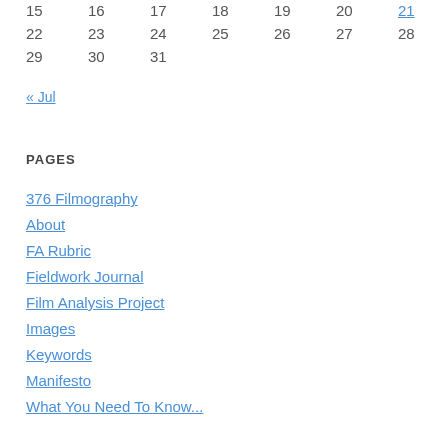| 15 | 16 | 17 | 18 | 19 | 20 | 21 |
| 22 | 23 | 24 | 25 | 26 | 27 | 28 |
| 29 | 30 | 31 |  |  |  |  |
« Jul
PAGES
376 Filmography
About
FA Rubric
Fieldwork Journal
Film Analysis Project
Images
Keywords
Manifesto
What You Need To Know...